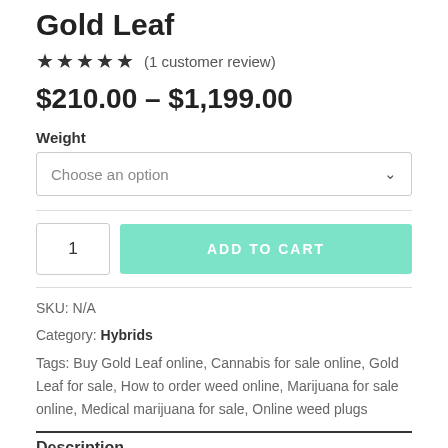Gold Leaf
★★★★★ (1 customer review)
$210.00 – $1,199.00
Weight
Choose an option
1  ADD TO CART
SKU: N/A
Category: Hybrids
Tags: Buy Gold Leaf online, Cannabis for sale online, Gold Leaf for sale, How to order weed online, Marijuana for sale online, Medical marijuana for sale, Online weed plugs
Description